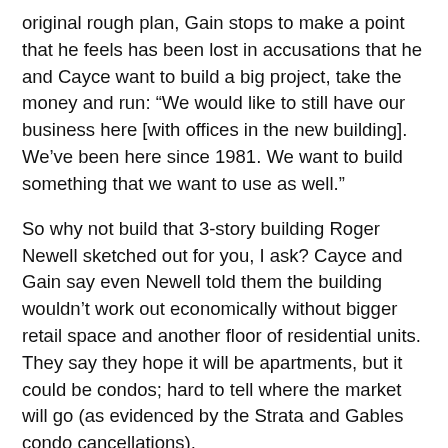original rough plan, Gain stops to make a point that he feels has been lost in accusations that he and Cayce want to build a big project, take the money and run: “We would like to still have our business here [with offices in the new building]. We’ve been here since 1981. We want to build something that we want to use as well.”
So why not build that 3-story building Roger Newell sketched out for you, I ask? Cayce and Gain say even Newell told them the building wouldn’t work out economically without bigger retail space and another floor of residential units. They say they hope it will be apartments, but it could be condos; hard to tell where the market will go (as evidenced by the Strata and Gables condo cancellations).
When pressed for more specifics on the economic discrepancy between building sizes, Cayce points in particular to the major excavation and retaining wall required for underground parking, because of the site’s terrain, and the lack of an alley between their property and